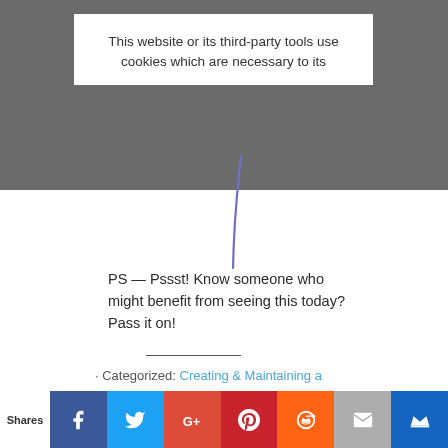This website or its third-party tools use cookies which are necessary to its
[Figure (illustration): Handwritten annotation arrow/line in blue ink pointing downward]
PS — Pssst! Know someone who might benefit from seeing this today? Pass it on!
· Categorized: Creating & Maintaining a
Shares [Facebook] [Twitter] [Google+] [Pinterest] [Reddit] [Email] [Crown]